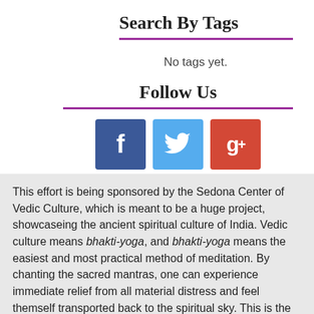Search By Tags
No tags yet.
Follow Us
[Figure (infographic): Social media icons: Facebook (blue), Twitter (light blue), Google+ (red-orange)]
This effort is being sponsored by the Sedona Center of Vedic Culture, which is meant to be a huge project, showcaseing the ancient spiritual culture of India. Vedic culture means bhakti-yoga, and bhakti-yoga means the easiest and most practical method of meditation. By chanting the sacred mantras, one can experience immediate relief from all material distress and feel themself transported back to the spiritual sky. This is the benefit of the process of bhakti in the...